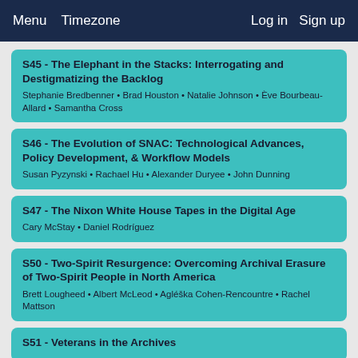Menu  Timezone  Log in  Sign up
S45 - The Elephant in the Stacks: Interrogating and Destigmatizing the Backlog
Stephanie Bredbenner • Brad Houston • Natalie Johnson • Ève Bourbeau-Allard • Samantha Cross
S46 - The Evolution of SNAC: Technological Advances, Policy Development, & Workflow Models
Susan Pyzynski • Rachael Hu • Alexander Duryee • John Dunning
S47 - The Nixon White House Tapes in the Digital Age
Cary McStay • Daniel Rodríguez
S50 - Two-Spirit Resurgence: Overcoming Archival Erasure of Two-Spirit People in North America
Brett Lougheed • Albert McLeod • Agléška Cohen-Rencountre • Rachel Mattson
S51 - Veterans in the Archives